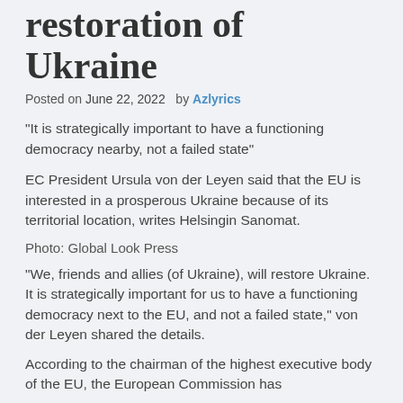restoration of Ukraine
Posted on June 22, 2022  by Azlyrics
“It is strategically important to have a functioning democracy nearby, not a failed state”
EC President Ursula von der Leyen said that the EU is interested in a prosperous Ukraine because of its territorial location, writes Helsingin Sanomat.
Photo: Global Look Press
“We, friends and allies (of Ukraine), will restore Ukraine. It is strategically important for us to have a functioning democracy next to the EU, and not a failed state,” von der Leyen shared the details.
According to the chairman of the highest executive body of the EU, the European Commission has